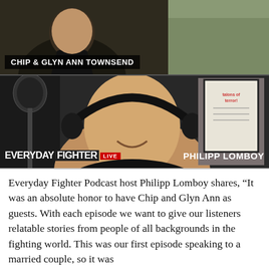[Figure (photo): Video podcast screenshot split into two panels. Top panel shows Chip & Glyn Ann Townsend in a video call. Bottom panel shows Philipp Lomboy wearing headphones with 'EVERYDAY FIGHTER LIVE' branding in lower left and 'PHILIPP LOMBOY' name in lower right.]
Everyday Fighter Podcast host Philipp Lomboy shares, “It was an absolute honor to have Chip and Glyn Ann as guests. With each episode we want to give our listeners relatable stories from people of all backgrounds in the fighting world. This was our first episode speaking to a married couple, so it was